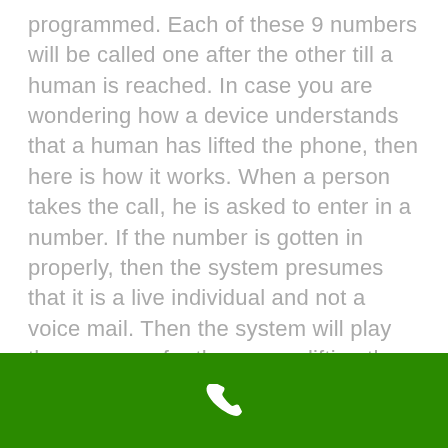programmed. Each of these 9 numbers will be called one after the other till a human is reached. In case you are wondering how a device understands that a human has lifted the phone, then here is how it works. When a person takes the call, he is asked to enter in a number. If the number is gotten in properly, then the system presumes that it is a live individual and not a voice mail. Then the system will play the message for the person lifting the call.

In a 2-way system, a 2-way interaction is developed between the individual in distress and
[Figure (other): Green footer bar with white phone handset icon centered]